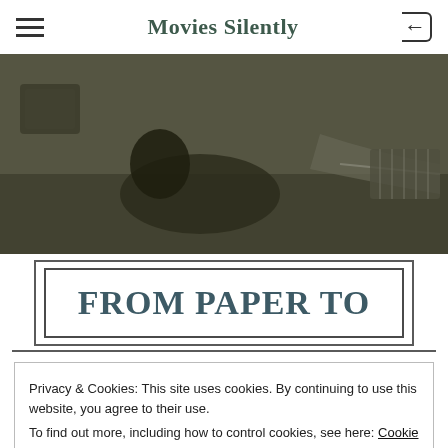Movies Silently
[Figure (photo): Black and white photograph of a person lying on the ground, possibly playing an instrument or using a device, with another hand visible reaching from the right side.]
FROM PAPER TO
Privacy & Cookies: This site uses cookies. By continuing to use this website, you agree to their use.
To find out more, including how to control cookies, see here: Cookie Policy
Close and accept